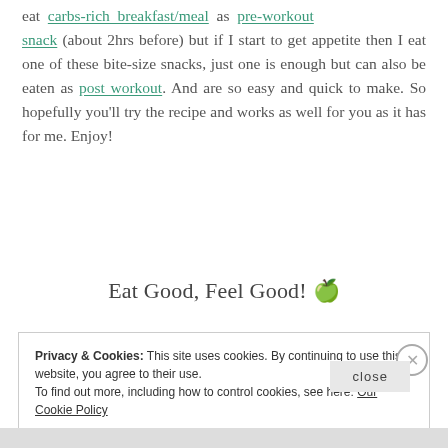eat carbs-rich breakfast/meal as pre-workout snack (about 2hrs before) but if I start to get appetite then I eat one of these bite-size snacks, just one is enough but can also be eaten as post workout. And are so easy and quick to make. So hopefully you'll try the recipe and works as well for you as it has for me. Enjoy!
Eat Good, Feel Good! 🍏
Privacy & Cookies: This site uses cookies. By continuing to use this website, you agree to their use. To find out more, including how to control cookies, see here: Our Cookie Policy